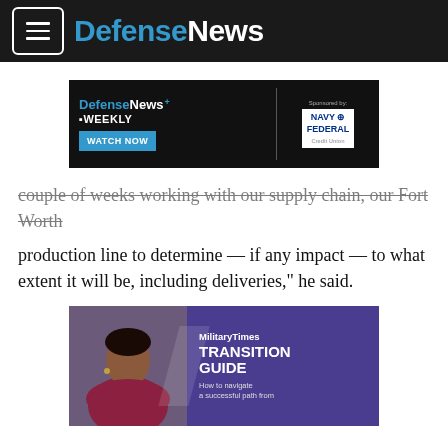DefenseNews
[Figure (screenshot): DefenseNews Weekly advertisement banner with WATCH NOW button, Sponsored by Navy Federal Credit Union]
couple of weeks working with our supply chain, our Fort Worth production line to determine — if any impact — to what extent it will be, including deliveries," he said.
[Figure (screenshot): MilitaryTimes Transition Guide advertisement — How to navigate a successful path from [military service]]